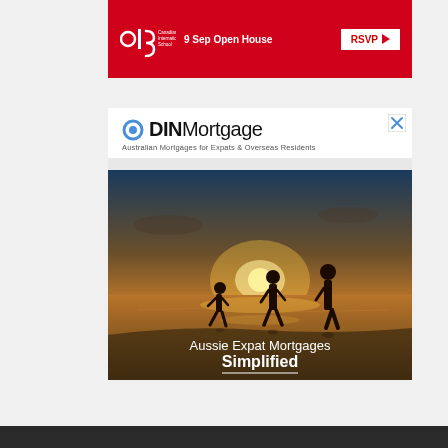[Figure (illustration): CIS Canadian International School red banner advertisement with logo, '9 Sep Open House' text and white RSVP button with arrow]
[Figure (photo): ODIN Mortgage advertisement featuring logo, tagline 'Australian Mortgages for Expats & Overseas Residents', beach sunset silhouette photo of family, text 'Aussie Expat Mortgages Simplified' with underline, and close X button]